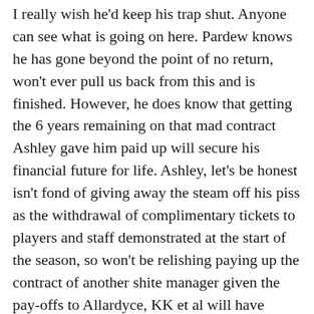I really wish he'd keep his trap shut. Anyone can see what is going on here. Pardew knows he has gone beyond the point of no return, won't ever pull us back from this and is finished. However, he does know that getting the 6 years remaining on that mad contract Ashley gave him paid up will secure his financial future for life. Ashley, let's be honest isn't fond of giving away the steam off his piss as the withdrawal of complimentary tickets to players and staff demonstrated at the start of the season, so won't be relishing paying up the contract of another shite manager given the pay-offs to Allardyce, KK et al will have given him the terrors.
This is the truth of where we're at with Alan Pardew and Mike Ashley, now sitting in the stands with the Tea-boy aka Lee Charnley with a look suggesting he's been told the single malt was out. It's Morrisons own off...